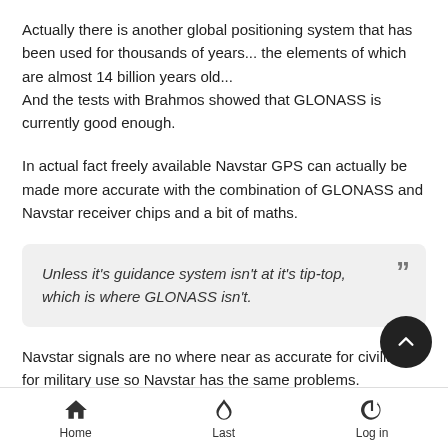Actually there is another global positioning system that has been used for thousands of years... the elements of which are almost 14 billion years old...
And the tests with Brahmos showed that GLONASS is currently good enough.
In actual fact freely available Navstar GPS can actually be made more accurate with the combination of GLONASS and Navstar receiver chips and a bit of maths.
Unless it's guidance system isn't at it's tip-top, which is where GLONASS isn't.
Navstar signals are no where near as accurate for civilian u... for military use so Navstar has the same problems.
Home  Last  Log in